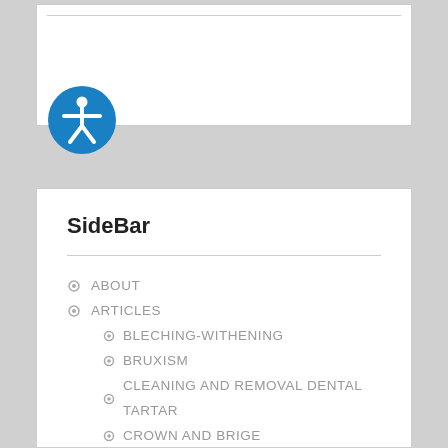[Figure (logo): Blue circle accessibility icon with white person figure (universal accessibility symbol)]
SideBar
ABOUT
ARTICLES
BLECHING-WITHENING
BRUXISM
CLEANING AND REMOVAL DENTAL TARTAR
CROWN AND BRIGE
DENTAL PROSTHESIS – DENTURE
FILLING-RECONSTRUCTION-RESTORATION
IMPLANTS
LAMINATES-VENEERS
LAUGHING GAS
PERIODONTAL DISEASE